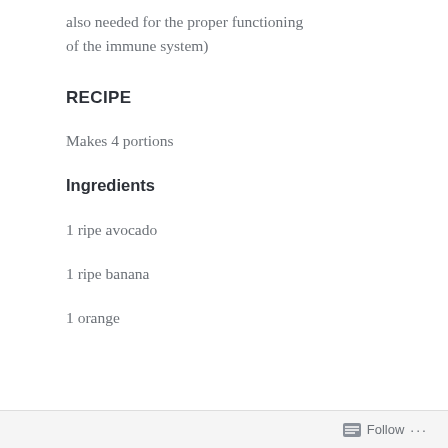also needed for the proper functioning of the immune system)
RECIPE
Makes 4 portions
Ingredients
1 ripe avocado
1 ripe banana
1 orange
Follow ...